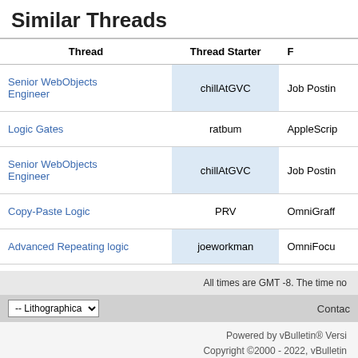Similar Threads
| Thread | Thread Starter | F |
| --- | --- | --- |
| Senior WebObjects Engineer | chillAtGVC | Job Postin… |
| Logic Gates | ratbum | AppleScri… |
| Senior WebObjects Engineer | chillAtGVC | Job Postin… |
| Copy-Paste Logic | PRV | OmniGraff… |
| Advanced Repeating logic | joeworkman | OmniFocu… |
All times are GMT -8. The time no…
-- Lithographica
Contac…
Powered by vBulletin® Versi… Copyright ©2000 - 2022, vBulletin…